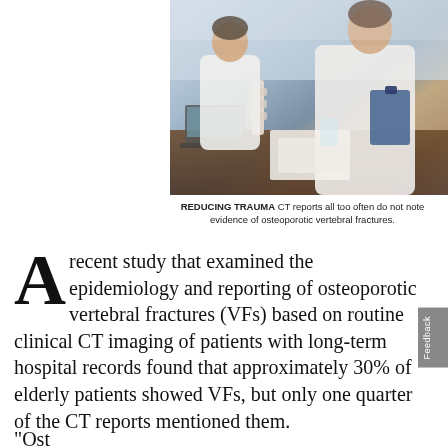[Figure (photo): Two medical professionals in white coats sitting at a desk with a laptop, spine model, and papers]
REDUCING TRAUMA CT reports all too often do not note evidence of osteoporotic vertebral fractures.
A recent study that examined the epidemiology and reporting of osteoporotic vertebral fractures (VFs) based on routine clinical CT imaging of patients with long-term hospital records found that approximately 30% of elderly patients showed VFs, but only one quarter of the CT reports mentioned them.
"Osteoporosis management should be...